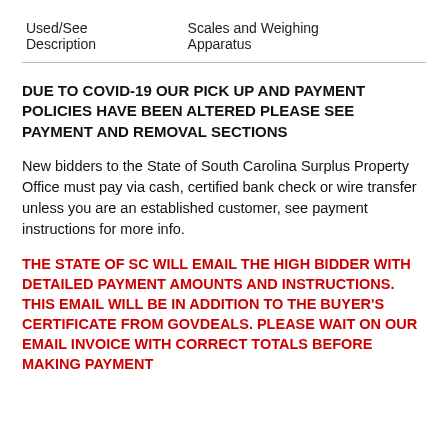| Used/See Description | Scales and Weighing Apparatus |
DUE TO COVID-19 OUR PICK UP AND PAYMENT POLICIES HAVE BEEN ALTERED PLEASE SEE PAYMENT AND REMOVAL SECTIONS
New bidders to the State of South Carolina Surplus Property Office must pay via cash, certified bank check or wire transfer unless you are an established customer, see payment instructions for more info.
THE STATE OF SC WILL EMAIL THE HIGH BIDDER WITH DETAILED PAYMENT AMOUNTS AND INSTRUCTIONS. THIS EMAIL WILL BE IN ADDITION TO THE BUYER'S CERTIFICATE FROM GOVDEALS. PLEASE WAIT ON OUR EMAIL INVOICE WITH CORRECT TOTALS BEFORE MAKING PAYMENT